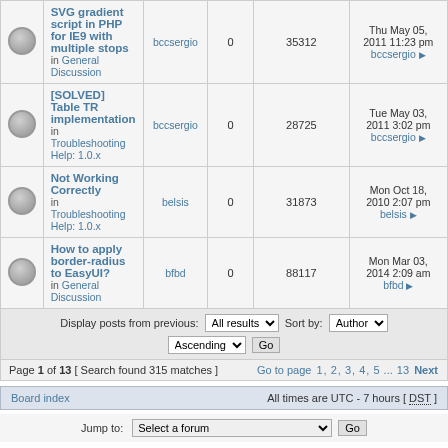|  | Topic | Author | Replies | Views | Last post |
| --- | --- | --- | --- | --- | --- |
|  | SVG gradient script in PHP for IE9 with multiple stops
in General Discussion | bccsergio | 0 | 35312 | Thu May 05, 2011 11:23 pm
bccsergio |
|  | [SOLVED] Table TR implementation
in Troubleshooting Help: 1.0.x | bccsergio | 0 | 28725 | Tue May 03, 2011 3:02 pm
bccsergio |
|  | Not Working Correctly
in Troubleshooting Help: 1.0.x | belsis | 0 | 31873 | Mon Oct 18, 2010 2:07 pm
belsis |
|  | How to apply border-radius to EasyUI?
in General Discussion | bfbd | 0 | 88117 | Mon Mar 03, 2014 2:09 am
bfbd |
Display posts from previous: All results  Sort by: Author  Ascending  Go
Page 1 of 13 [ Search found 315 matches ]  Go to page 1, 2, 3, 4, 5 ... 13  Next
Board index    All times are UTC - 7 hours [ DST ]
Jump to:  Select a forum  Go